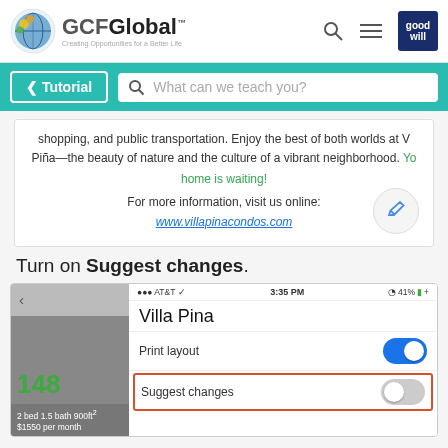[Figure (screenshot): GCFGlobal navigation bar with logo, search icon, hamburger menu, and Goodwill icon]
[Figure (screenshot): Teal navigation bar with Tutorial button and search field 'What can we teach you?']
[Figure (screenshot): Document preview showing Villa Pina condos text with edit button overlay]
Turn on Suggest changes.
[Figure (screenshot): Mobile phone screenshot showing AT&T 3:35 PM 41% status bar, Villa Pina document with Print layout toggle on (blue) and Suggest changes toggle off (gray, highlighted with orange border)]